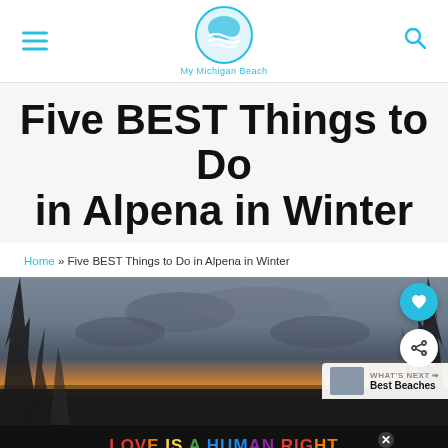My Michigan Beach
Five BEST Things to Do in Alpena in Winter
Home » Five BEST Things to Do in Alpena in Winter
[Figure (photo): Winter landscape with bare trees and dramatic sunset sky over a road, with social sharing buttons overlaid]
[Figure (infographic): Advertisement banner: LOVE IS A HUMAN RIGHT with rainbow-colored text on black background, with LOVE COMPASSION CHARITY BELONGING below]